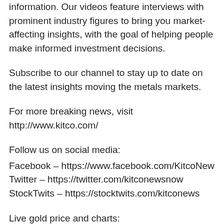information. Our videos feature interviews with prominent industry figures to bring you market-affecting insights, with the goal of helping people make informed investment decisions.
Subscribe to our channel to stay up to date on the latest insights moving the metals markets.
For more breaking news, visit http://www.kitco.com/
Follow us on social media:
Facebook – https://www.facebook.com/KitcoNews/?ref=br_rs
Twitter – https://twitter.com/kitconewsnow
StockTwits – https://stocktwits.com/kitconews
Live gold price and charts: http://www.kitco.com/gold-price-today.html